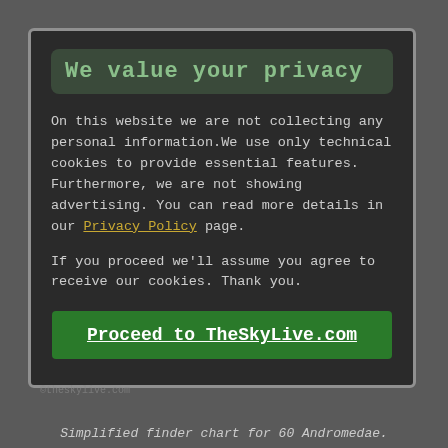We value your privacy
On this website we are not collecting any personal information.We use only technical cookies to provide essential features. Furthermore, we are not showing advertising. You can read more details in our Privacy Policy page.
If you proceed we'll assume you agree to receive our cookies. Thank you.
Proceed to TheSkyLive.com
Simplified finder chart for 60 Andromedae.